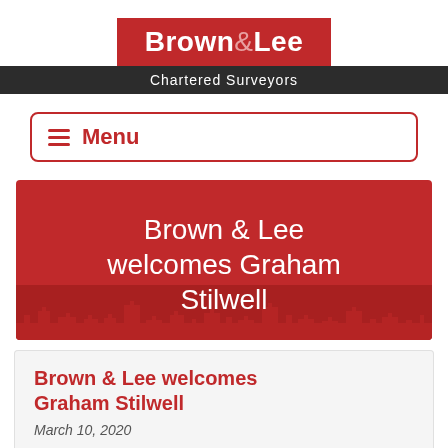[Figure (logo): Brown & Lee Chartered Surveyors logo — red background with white text 'Brown & Lee' and black background with white text 'Chartered Surveyors']
Menu
[Figure (illustration): Red banner with white text 'Brown & Lee welcomes Graham Stilwell' and a darker red city skyline silhouette at the bottom]
Brown & Lee welcomes Graham Stilwell
March 10, 2020
It is our pleasure to announce